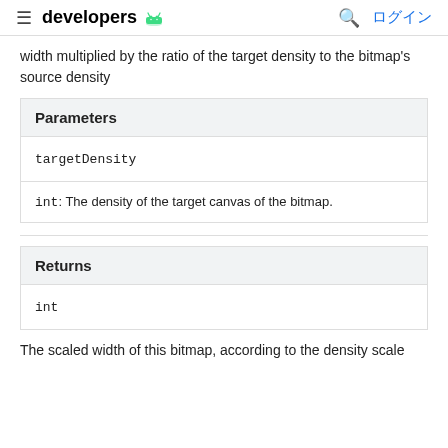developers ログイン
width multiplied by the ratio of the target density to the bitmap's source density
| Parameters |
| --- |
| targetDensity |
| int: The density of the target canvas of the bitmap. |
| Returns |
| --- |
| int |
The scaled width of this bitmap, according to the density scale